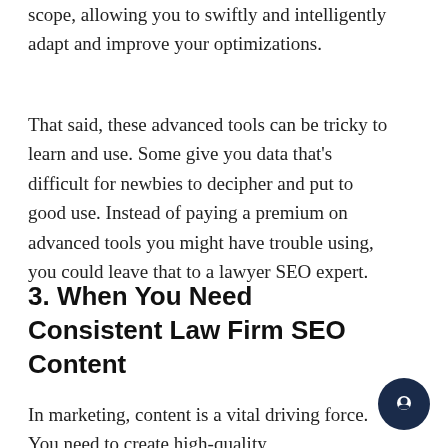scope, allowing you to swiftly and intelligently adapt and improve your optimizations.
That said, these advanced tools can be tricky to learn and use. Some give you data that's difficult for newbies to decipher and put to good use. Instead of paying a premium on advanced tools you might have trouble using, you could leave that to a lawyer SEO expert.
3. When You Need Consistent Law Firm SEO Content
In marketing, content is a vital driving force. You need to create high-quality